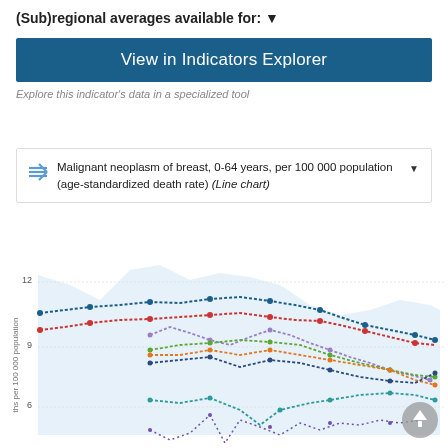(Sub)regional averages available for: ▼
View in Indicators Explorer
Explore this indicator's data in a specialized tool
Malignant neoplasm of breast, 0-64 years, per 100 000 population (age-standardized death rate) (Line chart)
[Figure (continuous-plot): Multi-line chart showing malignant neoplasm of breast age-standardized death rate per 100,000 population for multiple regions/countries over time. Y-axis shows values from approximately 4 to 12, with gridlines at 6, 9, and 12. Multiple colored dotted/dashed lines trend generally downward over time. A light blue shaded area forms the background range envelope. A circular back-to-top button is visible in the lower right.]